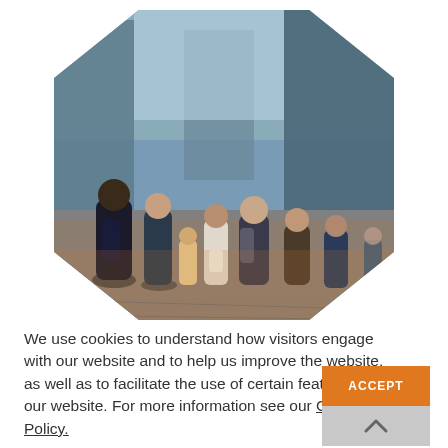[Figure (photo): Crowd of people walking on a busy city street, viewed from behind, with tall modern glass buildings in the background, displayed inside a hexagonal/octagonal shaped clip.]
We use cookies to understand how visitors engage with our website and to help us improve the website, as well as to facilitate the use of certain features of our website. For more information see our Cookie Policy.